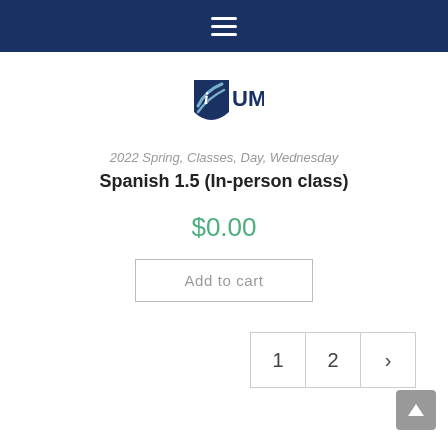Navigation menu bar
[Figure (logo): iUMASC shield logo with text UMASC where UMA is dark navy and SC is light blue]
2022 Spring, Classes, Day, Wednesday
Spanish 1.5 (In-person class)
$0.00
Add to cart
1  2  ›